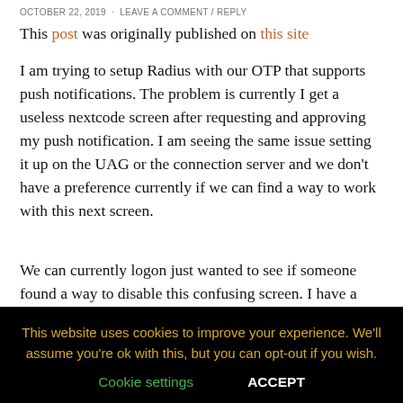OCTOBER 22, 2019   ·   LEAVE A COMMENT / REPLY
This post was originally published on this site
I am trying to setup Radius with our OTP that supports push notifications. The problem is currently I get a useless nextcode screen after requesting and approving my push notification. I am seeing the same issue setting it up on the UAG or the connection server and we don't have a preference currently if we can find a way to work with this next screen.
We can currently logon just wanted to see if someone found a way to disable this confusing screen. I have a ticket in with
This website uses cookies to improve your experience. We'll assume you're ok with this, but you can opt-out if you wish.
Cookie settings   ACCEPT